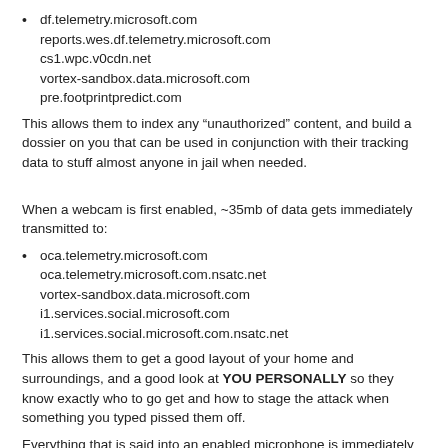df.telemetry.microsoft.com
reports.wes.df.telemetry.microsoft.com
cs1.wpc.v0cdn.net
vortex-sandbox.data.microsoft.com
pre.footprintpredict.com
This allows them to index any “unauthorized” content, and build a dossier on you that can be used in conjunction with their tracking data to stuff almost anyone in jail when needed.
When a webcam is first enabled, ~35mb of data gets immediately transmitted to:
oca.telemetry.microsoft.com
oca.telemetry.microsoft.com.nsatc.net
vortex-sandbox.data.microsoft.com
i1.services.social.microsoft.com
i1.services.social.microsoft.com.nsatc.net
This allows them to get a good layout of your home and surroundings, and a good look at YOU PERSONALLY so they know exactly who to go get and how to stage the attack when something you typed pissed them off.
Everything that is said into an enabled microphone is immediately transmitted to: